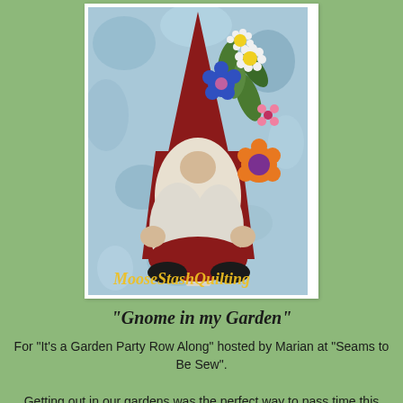[Figure (illustration): A quilted gnome holding flowers, sitting against a blue mottled background. The gnome has a large red hat/body, white beard, small hands and feet, and holds colorful daisy and flower blooms. Watermark text 'MooseStashQuilting' appears in yellow at the bottom of the image.]
"Gnome in my Garden"
For "It's a Garden Party Row Along" hosted by Marian at "Seams to Be Sew".
Getting out in our gardens was the perfect way to pass time this year.
Marian couldn't have picked a better theme for this years row